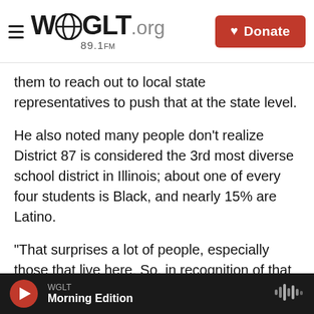WGLT.org 89.1FM — Donate
them to reach out to local state representatives to push that at the state level.
He also noted many people don't realize District 87 is considered the 3rd most diverse school district in Illinois; about one of every four students is Black, and nearly 15% are Latino.
"That surprises a lot of people, especially those that live here. So, in recognition of that diversity this is just one thing," he said.
Reilly noted about five years ago, the board waived several state observed "days off" holidays
WGLT — Morning Edition